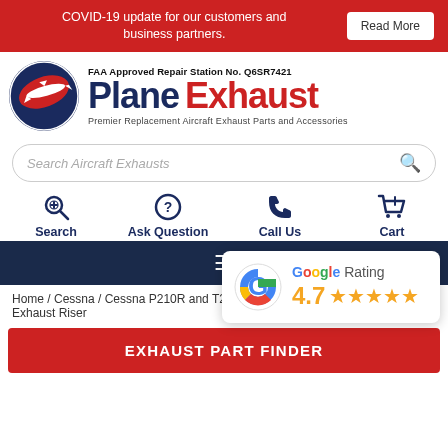COVID-19 update for our customers and business partners. Read More
[Figure (logo): Plane Exhaust logo with airplane icon, FAA Approved Repair Station No. Q6SR7421, Premier Replacement Aircraft Exhaust Parts and Accessories]
Search Aircraft Exhausts
Search  Ask Question  Call Us  Cart
[Figure (infographic): Google Rating 4.7 stars popup overlay on dark navigation bar]
Home / Cessna / Cessna P210R and T21... / Exhaust Riser
EXHAUST PART FINDER